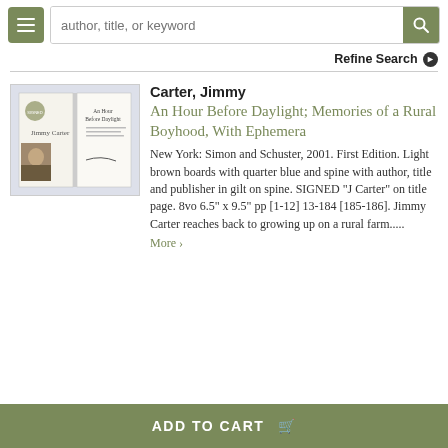[Figure (screenshot): Navigation bar with hamburger menu button, search input field with placeholder 'author, title, or keyword', and a search button]
Refine Search ❯
[Figure (photo): Book cover image of 'An Hour Before Daylight' by Jimmy Carter showing the open book with title page and author photo]
Carter, Jimmy
An Hour Before Daylight; Memories of a Rural Boyhood, With Ephemera
New York: Simon and Schuster, 2001. First Edition. Light brown boards with quarter blue and spine with author, title and publisher in gilt on spine. SIGNED "J Carter" on title page. 8vo 6.5" x 9.5" pp [1-12] 13-184 [185-186]. Jimmy Carter reaches back to growing up on a rural farm.....
More >
ADD TO CART